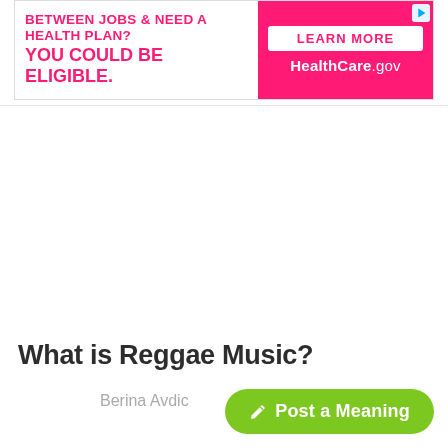[Figure (other): Advertisement banner: 'BETWEEN JOBS & NEED A HEALTH PLAN? YOU COULD BE ELIGIBLE.' with a 'LEARN MORE HealthCare.gov' button on the right side in pink/magenta.]
What is Reggae Music?
Berina Avdic
9 months ago
✎ Post a Meaning